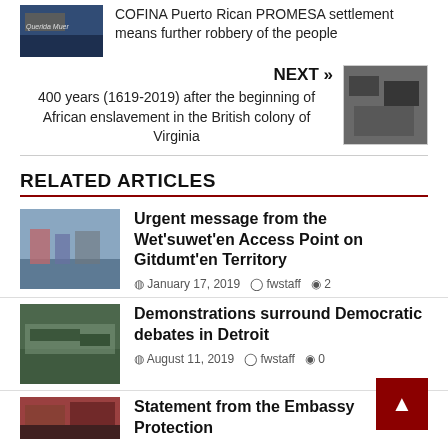[Figure (photo): Protest photo with banner reading 'Querida Muer']
COFINA Puerto Rican PROMESA settlement means further robbery of the people
NEXT »
400 years (1619-2019) after the beginning of African enslavement in the British colony of Virginia
[Figure (photo): Historical black and white photo of African enslavement]
RELATED ARTICLES
[Figure (photo): Winter protest scene with crowd]
Urgent message from the Wet'suwet'en Access Point on Gitdumt'en Territory
January 17, 2019   fwstaff   2
[Figure (photo): Protest crowd with banners in city]
Demonstrations surround Democratic debates in Detroit
August 11, 2019   fwstaff   0
[Figure (photo): Embassy protection collective photo]
Statement from the Embassy Protection